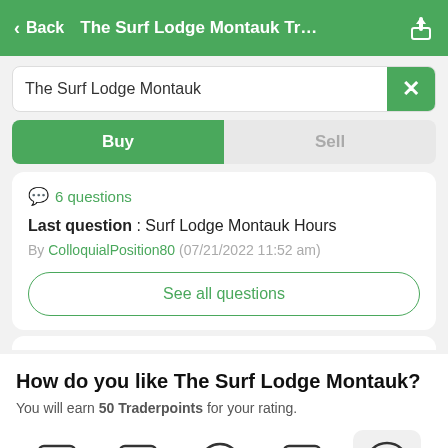< Back   The Surf Lodge Montauk Tr...
The Surf Lodge Montauk
Buy | Sell
6 questions
Last question : Surf Lodge Montauk Hours
By ColloquialPosition80 (07/21/2022 11:52 am)
See all questions
How do you like The Surf Lodge Montauk?
You will earn 50 Traderpoints for your rating.
[Figure (illustration): Five emoji rating icons in a row: four empty/outline rectangles and one filled smiley face with heart eyes on a light grey background (selected).]